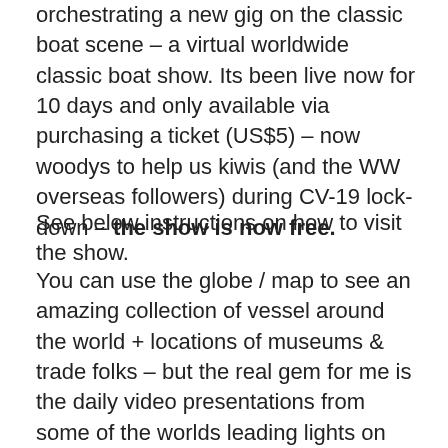orchestrating a new gig on the classic boat scene – a virtual worldwide classic boat show. Its been live now for 10 days and only available via purchasing a ticket (US$5) – now woodys to help us kiwis (and the WW overseas followers) during CV-19 lock-down – the show is now free.
See below instructions on how to visit the show.
You can use the globe / map to see an amazing collection of vessel around the world + locations of museums & trade folks – but the real gem for me is the daily video presentations from some of the worlds leading lights on the classic boating scene – sailors, teachers, photographers, event promoters and boat builders. You will be addicted so I apologise in advance for ruining your day/s – but, you're supposed to be in lock-down 🙂